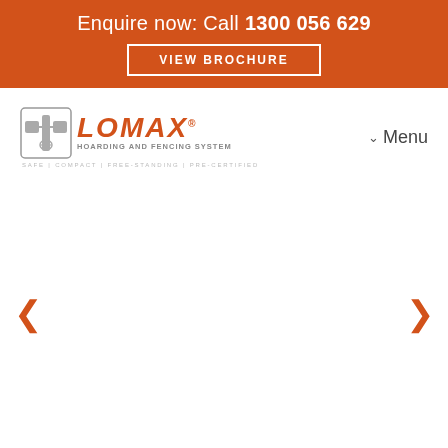Enquire now: Call 1300 056 629
VIEW BROCHURE
[Figure (logo): Lomax Hoarding and Fencing System logo with grey icon and orange LOMAX text. Tagline: SAFE | COMPACT | FREE-STANDING | PRE-CERTIFIED]
Menu
< (left arrow navigation)
> (right arrow navigation)